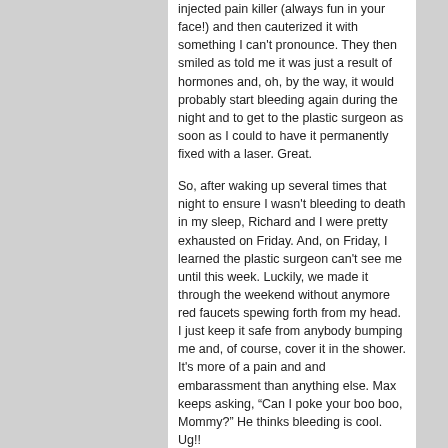injected pain killer (always fun in your face!) and then cauterized it with something I can't pronounce. They then smiled as told me it was just a result of hormones and, oh, by the way, it would probably start bleeding again during the night and to get to the plastic surgeon as soon as I could to have it permanently fixed with a laser. Great.
So, after waking up several times that night to ensure I wasn't bleeding to death in my sleep, Richard and I were pretty exhausted on Friday. And, on Friday, I learned the plastic surgeon can't see me until this week. Luckily, we made it through the weekend without anymore red faucets spewing forth from my head. I just keep it safe from anybody bumping me and, of course, cover it in the shower. It's more of a pain and and embarassment than anything else. Max keeps asking, “Can I poke your boo boo, Mommy?” He thinks bleeding is cool. Ug!!